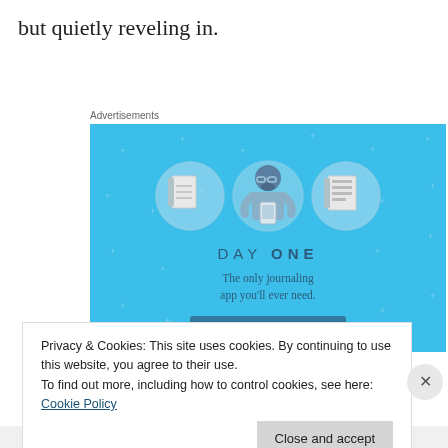but quietly reveling in.
Advertisements
[Figure (illustration): Day One journaling app advertisement. Sky blue background with small white plus/star decorations. Three circular icons: a blank notebook, a person holding a phone, and a lined notebook. Text reads: DAY ONE - The only journaling app you'll ever need.]
Privacy & Cookies: This site uses cookies. By continuing to use this website, you agree to their use.
To find out more, including how to control cookies, see here: Cookie Policy